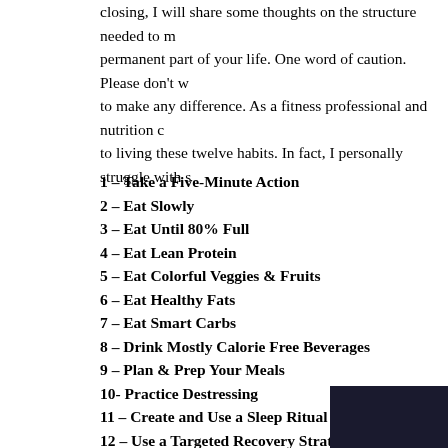closing, I will share some thoughts on the structure needed to make this a permanent part of your life. One word of caution. Please don't w to make any difference. As a fitness professional and nutrition c to living these twelve habits. In fact, I personally struggle with s
1 – Take a Five-Minute Action
2 – Eat Slowly
3 – Eat Until 80% Full
4 – Eat Lean Protein
5 – Eat Colorful Veggies & Fruits
6 – Eat Healthy Fats
7 – Eat Smart Carbs
8 – Drink Mostly Calorie Free Beverages
9 – Plan & Prep Your Meals
10- Practice Destressing
11 – Create and Use a Sleep Ritual
12 – Use a Targeted Recovery Strategy
[Figure (photo): Dark/night sky or dark background photo at the bottom of the page]